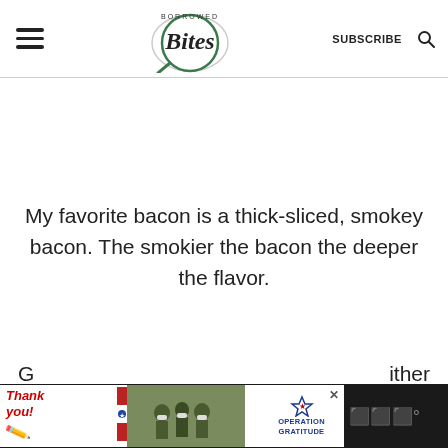Borrowed Bites — SUBSCRIBE
My favorite bacon is a thick-sliced, smokey bacon. The smokier the bacon the deeper the flavor.
INGREDIENTS
[Figure (screenshot): Operation Gratitude advertisement banner with 'Thank you' handwritten text, soldiers photo, and Operation Gratitude logo]
either